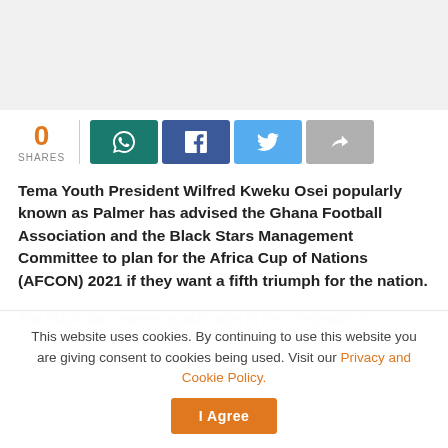[Figure (photo): Grey placeholder image area at top of page]
0 SHARES
Tema Youth President Wilfred Kweku Osei popularly known as Palmer has advised the Ghana Football Association and the Black Stars Management Committee to plan for the Africa Cup of Nations (AFCON) 2021 if they want a fifth triumph for the nation.
The Black Stars earned qualification to the competition th...
This website uses cookies. By continuing to use this website you are giving consent to cookies being used. Visit our Privacy and Cookie Policy.